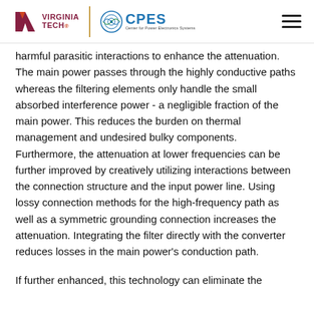Virginia Tech / CPES logo header
harmful parasitic interactions to enhance the attenuation. The main power passes through the highly conductive paths whereas the filtering elements only handle the small absorbed interference power - a negligible fraction of the main power. This reduces the burden on thermal management and undesired bulky components. Furthermore, the attenuation at lower frequencies can be further improved by creatively utilizing interactions between the connection structure and the input power line. Using lossy connection methods for the high-frequency path as well as a symmetric grounding connection increases the attenuation. Integrating the filter directly with the converter reduces losses in the main power's conduction path.
If further enhanced, this technology can eliminate the